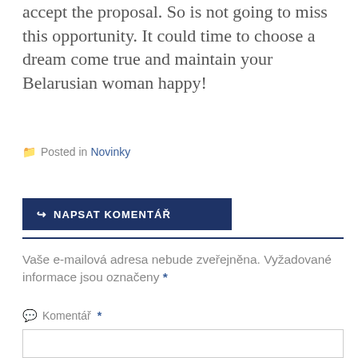accept the proposal. So is not going to miss this opportunity. It could time to choose a dream come true and maintain your Belarusian woman happy!
Posted in Novinky
NAPSAT KOMENTÁŘ
Vaše e-mailová adresa nebude zveřejněna. Vyžadované informace jsou označeny *
Komentář *